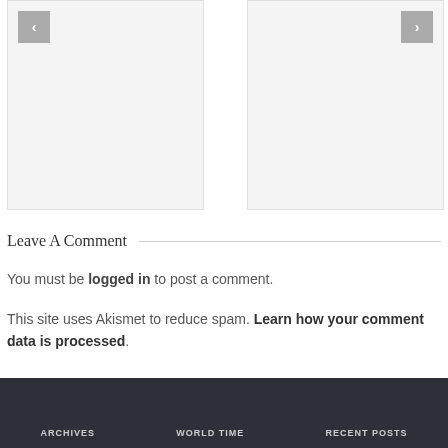[Figure (other): Navigation carousel with left arrow button on gray placeholder box]
[Figure (other): Navigation carousel with right arrow button on gray placeholder box]
Leave A Comment
You must be logged in to post a comment.
This site uses Akismet to reduce spam. Learn how your comment data is processed.
ARCHIVES   WORLD TIME   RECENT POSTS